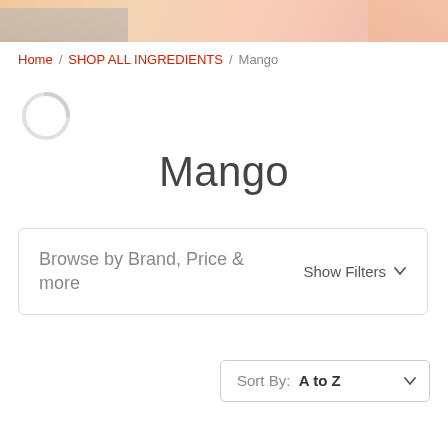[Figure (photo): Top banner with warm peach/tan tones, partially obscured image of food/ingredients]
Home / SHOP ALL INGREDIENTS / Mango
[Figure (other): Loading spinner (circular arc)]
Mango
Browse by Brand, Price & more   Show Filters ∨
Sort By: A to Z ∨